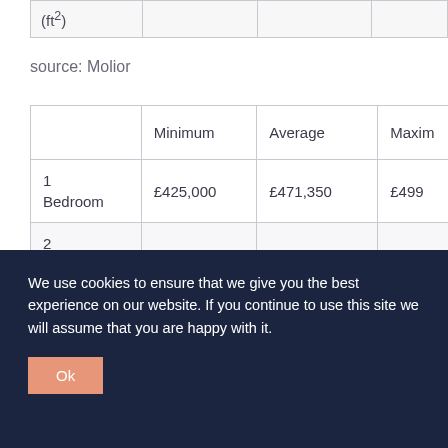|  | Minimum | Average | Maxim... |
| --- | --- | --- | --- |
| (ft²) |  |  |  |
| 1 Bedroom | £425,000 | £471,350 | £499... |
| 2 Bedroom | £599,950 | £1,127,264 | £2,00... |
source: Molior
We use cookies to ensure that we give you the best experience on our website. If you continue to use this site we will assume that you are happy with it.